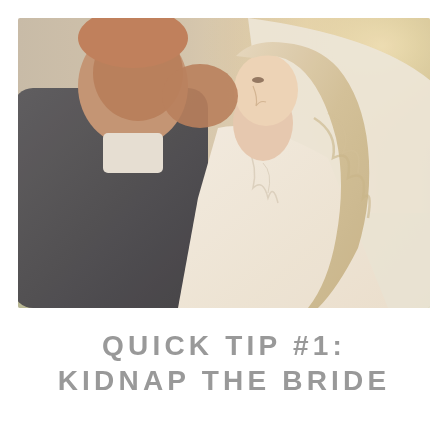[Figure (photo): A bride and groom leaning foreheads together in an intimate close-up. The groom wears a dark gray suit, the bride has long wavy blonde hair and a lace wedding dress. Soft golden outdoor light in background with blurred greenery.]
QUICK TIP #1: KIDNAP THE BRIDE